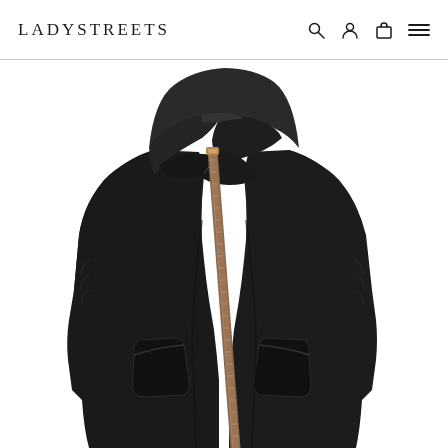LADYSTREETS
[Figure (photo): A black hooded women's coat with asymmetric zipper closure featuring a rose gold/bronze zipper. The coat has a large draped cowl hood, fitted silhouette, long sleeves with subtle ruching detail, and two side pockets. Displayed on white background.]